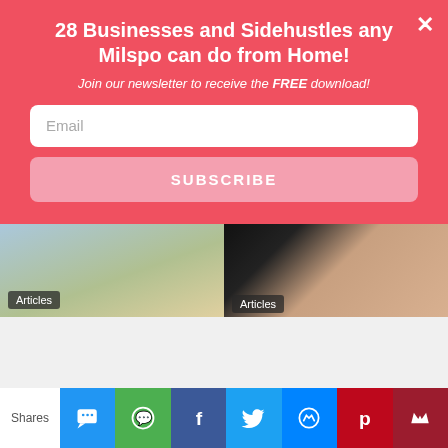28 Businesses and Sidehustles any Milspo can do from Home!
Join our newsletter to receive the FREE download!
Email
SUBSCRIBE
[Figure (photo): Cat/dog with 3D glasses and orange]
Articles
[Figure (photo): Dark background with pink circle logo]
Articles
How to Maintain Your Balance When Your Spouse Is Deployed
Episode 44: It's Handled
[Figure (photo): Person walking in rain on flooded street]
Articles
[Figure (photo): Woman smiling - Lauren Nygard Photography]
Articles
Shares